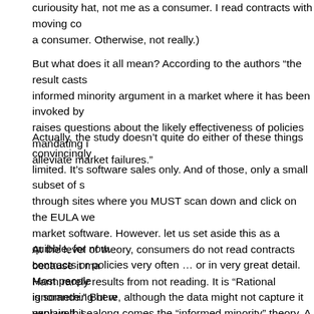curiousity hat, not me as a consumer. I read contracts with moving co a consumer. Otherwise, not really.)
But what does it all mean? According to the authors “the result casts informed minority argument in a market where it has been invoked by raises questions about the likely effectiveness of policies mandating i alleviate market failures.”
Actually, the study doesn’t quite do either of these things convincingly limited. It’s software sales only. And of those, only a small subset of s through sites where you MUST scan down and click on the EULA we market software. However. let us set aside this as a quibble, for now. contracts or policies very often … or in very great detail. Most people is something here, although the data might not capture it very well. Le
At the level of theory, consumers do not read contracts because it ma Harm rarely results from not reading. It is “Rational ignorance.” But w explain this, along comes the “informed minority” theory. A few consu the theory to work, though, the minority of consumers needs to be en the number might turn out to be very, very small in practice… do we t i th th th f d f l d